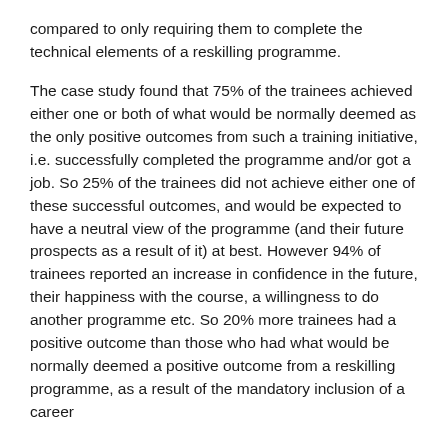compared to only requiring them to complete the technical elements of a reskilling programme.
The case study found that 75% of the trainees achieved either one or both of what would be normally deemed as the only positive outcomes from such a training initiative, i.e. successfully completed the programme and/or got a job. So 25% of the trainees did not achieve either one of these successful outcomes, and would be expected to have a neutral view of the programme (and their future prospects as a result of it) at best. However 94% of trainees reported an increase in confidence in the future, their happiness with the course, a willingness to do another programme etc. So 20% more trainees had a positive outcome than those who had what would be normally deemed a positive outcome from a reskilling programme, as a result of the mandatory inclusion of a career...